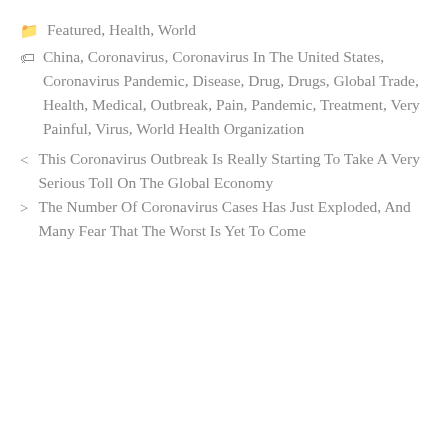🗂 Featured, Health, World
🏷 China, Coronavirus, Coronavirus In The United States, Coronavirus Pandemic, Disease, Drug, Drugs, Global Trade, Health, Medical, Outbreak, Pain, Pandemic, Treatment, Very Painful, Virus, World Health Organization
< This Coronavirus Outbreak Is Really Starting To Take A Very Serious Toll On The Global Economy
> The Number Of Coronavirus Cases Has Just Exploded, And Many Fear That The Worst Is Yet To Come